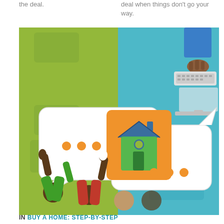the deal.
deal when things don't go your way.
[Figure (illustration): A colorful infographic illustration split into two halves: left side with green background showing people raising hands and speech bubbles with a house icon; right side with blue background showing a person typing at a computer and speech bubbles. The house icon in center is on an orange square. Multiple overlapping rounded speech bubbles dominate the center, with orange dots as ellipsis indicators.]
IN BUY A HOME: STEP-BY-STEP